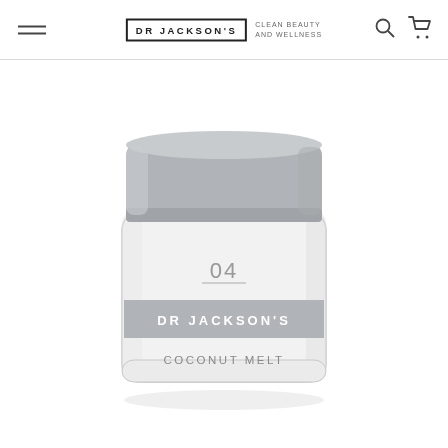DR JACKSON'S — CLEAN BEAUTY AND WELLNESS
[Figure (photo): A glass jar of Dr Jackson's Coconut Melt (product number 04) with a silver/grey lid. The jar is frosted white glass with a silver label band reading 'DR JACKSON'S' and below it 'COCONUT MELT'. The number '04' with an underline appears above the brand band.]